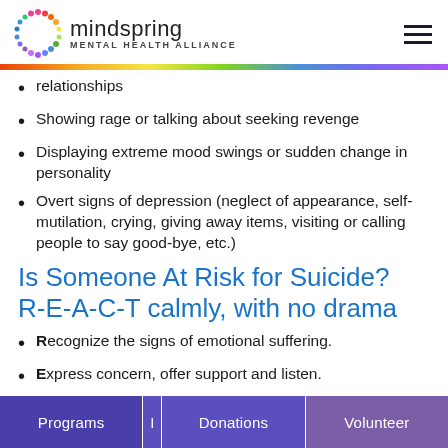mindspring MENTAL HEALTH ALLIANCE
relationships
Showing rage or talking about seeking revenge
Displaying extreme mood swings or sudden change in personality
Overt signs of depression (neglect of appearance, self-mutilation, crying, giving away items, visiting or calling people to say good-bye, etc.)
Is Someone At Risk for Suicide?  R-E-A-C-T calmly, with no drama
Recognize the signs of emotional suffering.
Express concern, offer support and listen.
Programs | Donations | Volunteer